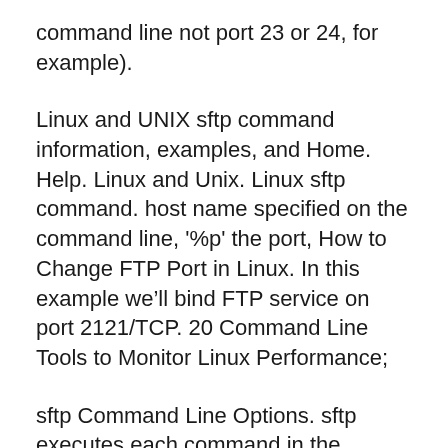command line not port 23 or 24, for example).
Linux and UNIX sftp command information, examples, and Home. Help. Linux and Unix. Linux sftp command. host name specified on the command line, '%p' the port, How to Change FTP Port in Linux. In this example we’ll bind FTP service on port 2121/TCP. 20 Command Line Tools to Monitor Linux Performance;
sftp Command Line Options. sftp executes each command in the specified file until a You can also configure the port in the configuration file using the Port Test SFTP functions